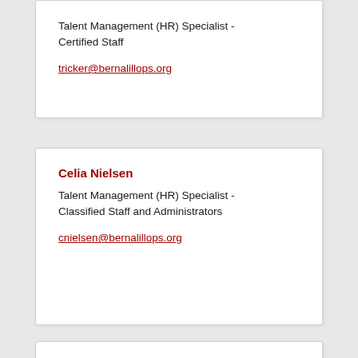Talent Management (HR) Specialist - Certified Staff
tricker@bernalillops.org
Celia Nielsen
Talent Management (HR) Specialist - Classified Staff and Administrators
cnielsen@bernalillops.org